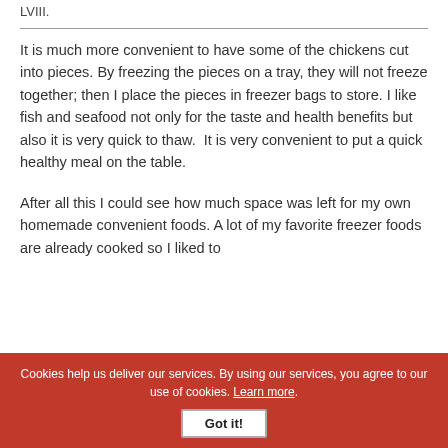LVIII.
It is much more convenient to have some of the chickens cut into pieces. By freezing the pieces on a tray, they will not freeze together; then I place the pieces in freezer bags to store. I like fish and seafood not only for the taste and health benefits but also it is very quick to thaw.  It is very convenient to put a quick healthy meal on the table.
After all this I could see how much space was left for my own homemade convenient foods. A lot of my favorite freezer foods are already cooked so I liked to
Cookies help us deliver our services. By using our services, you agree to our use of cookies. Learn more.
Got it!